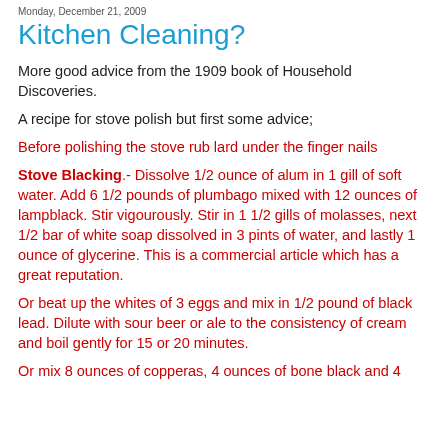Monday, December 21, 2009
Kitchen Cleaning?
More good advice from the 1909 book of Household Discoveries.
A recipe for stove polish but first some advice;
Before polishing the stove rub lard under the finger nails
Stove Blacking.- Dissolve 1/2 ounce of alum in 1 gill of soft water. Add 6 1/2 pounds of plumbago mixed with 12 ounces of lampblack. Stir vigourously. Stir in 1 1/2 gills of molasses, next 1/2 bar of white soap dissolved in 3 pints of water, and lastly 1 ounce of glycerine. This is a commercial article which has a great reputation.
Or beat up the whites of 3 eggs and mix in 1/2 pound of black lead. Dilute with sour beer or ale to the consistency of cream and boil gently for 15 or 20 minutes.
Or mix 8 ounces of copperas, 4 ounces of bone black and 4